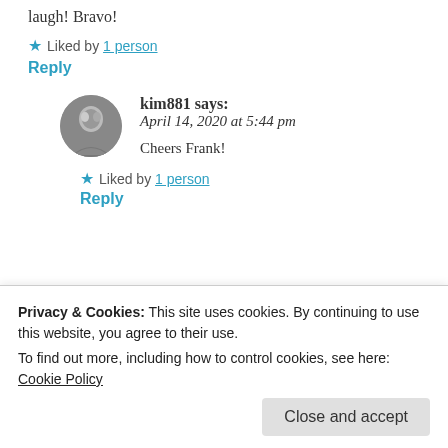laugh! Bravo!
★ Liked by 1 person
Reply
kim881 says: April 14, 2020 at 5:44 pm
Cheers Frank!
★ Liked by 1 person
Reply
Privacy & Cookies: This site uses cookies. By continuing to use this website, you agree to their use.
To find out more, including how to control cookies, see here: Cookie Policy